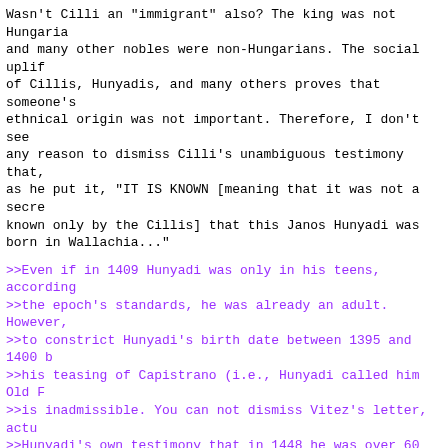Wasn't Cilli an "immigrant" also? The king was not Hungaria and many other nobles were non-Hungarians. The social uplif of Cillis, Hunyadis, and many others proves that someone's ethnical origin was not important. Therefore, I don't see any reason to dismiss Cilli's unambiguous testimony that, as he put it, "IT IS KNOWN [meaning that it was not a secre known only by the Cillis] that this Janos Hunyadi was born in Wallachia..."
>>Even if in 1409 Hunyadi was only in his teens, according >>the epoch's standards, he was already an adult. However, >>to constrict Hunyadi's birth date between 1395 and 1400 b >>his teasing of Capistrano (i.e., Hunyadi called him Old F >>is inadmissible. You can not dismiss Vitez's letter, actu >>Hunyadi's own testimony that in 1448 he was over 60 years >>and build on fiction. It is safer to confess ignorance.
>another quote which also supports the younger age, from >Thuroczy:
>"Post hec dominus comes Biiztricensis, qui tot tantosque s >tutis primevo a tempore bellorum exegerat labores, nondum >tutis etate demolitus, sed continuo armorum gestamine cura >directione fatigatus et viribus exhaustus ibidem egrotavit
So one should put in the balance Hunyadi's own testimony, that in 1448 he was over 60 years old, against Thurcozi's statement, that Hunyadi was still a relatively young man wh he died, and Piccolomini's claim that Hunyadi was younger t Capistrano (born in 1386)
I cannot gues what "relatively young" meant for Thurcozi, maybe just that Hunyadi was still in good shape, but I kno